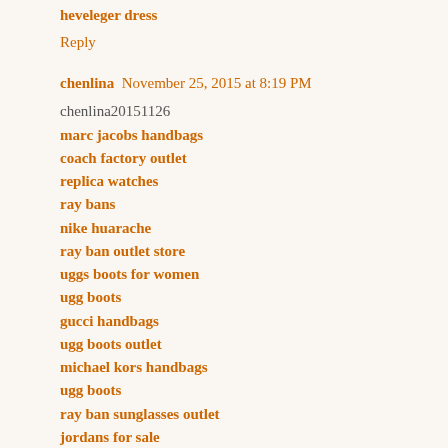heveleger dress
Reply
chenlina  November 25, 2015 at 8:19 PM
chenlina20151126
marc jacobs handbags
coach factory outlet
replica watches
ray bans
nike huarache
ray ban outlet store
uggs boots for women
ugg boots
gucci handbags
ugg boots outlet
michael kors handbags
ugg boots
ray ban sunglasses outlet
jordans for sale
cheap ugg boots